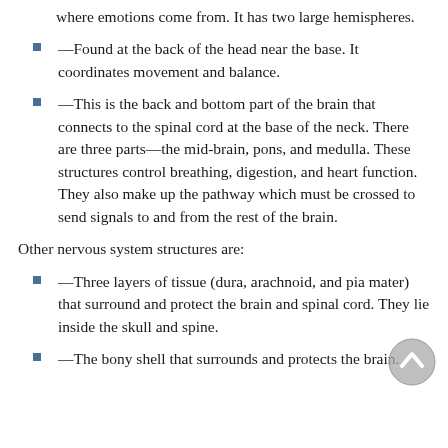where emotions come from. It has two large hemispheres.
—Found at the back of the head near the base. It coordinates movement and balance.
—This is the back and bottom part of the brain that connects to the spinal cord at the base of the neck. There are three parts—the mid-brain, pons, and medulla. These structures control breathing, digestion, and heart function. They also make up the pathway which must be crossed to send signals to and from the rest of the brain.
Other nervous system structures are:
—Three layers of tissue (dura, arachnoid, and pia mater) that surround and protect the brain and spinal cord. They lie inside the skull and spine.
—The bony shell that surrounds and protects the brain.